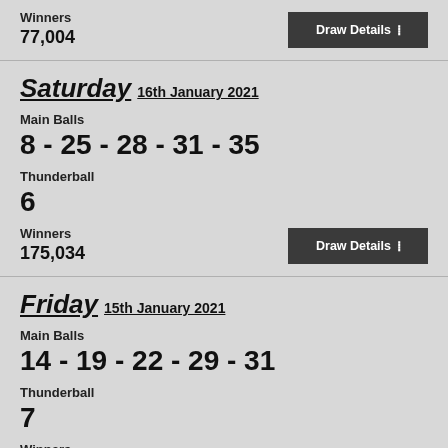Winners
77,004
Saturday 16th January 2021
Main Balls
8 - 25 - 28 - 31 - 35
Thunderball
6
Winners
175,034
Friday 15th January 2021
Main Balls
14 - 19 - 22 - 29 - 31
Thunderball
7
Winners